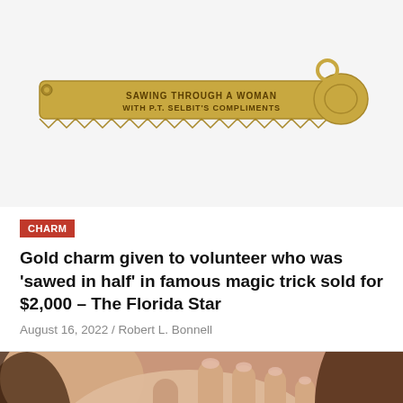[Figure (photo): A gold saw-shaped charm with engraved text: 'SAWING THROUGH A WOMAN WITH P.T. SELBIT'S COMPLIMENTS']
CHARM
Gold charm given to volunteer who was 'sawed in half' in famous magic trick sold for $2,000 – The Florida Star
August 16, 2022 / Robert L. Bonnell
[Figure (photo): Close-up photo of a woman's hand showing a diamond ring, with curly hair visible in the background.]